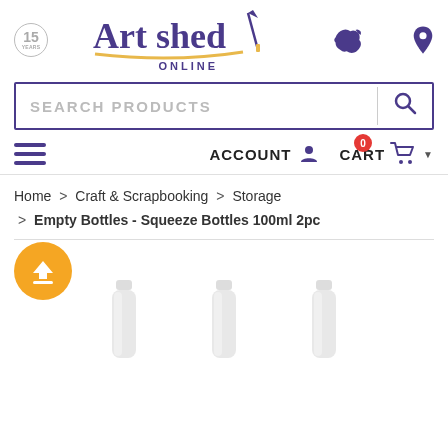[Figure (logo): Art Shed Online logo with 15 years badge, Australian map icon, and location pin icon]
[Figure (screenshot): Search products bar with purple border and search icon]
[Figure (infographic): Navigation bar with hamburger menu, ACCOUNT icon, and CART icon with 0 badge]
Home > Craft & Scrapbooking > Storage > Empty Bottles - Squeeze Bottles 100ml 2pc
[Figure (infographic): Orange upload/scroll-to-top circular button and partial product bottle images at bottom]